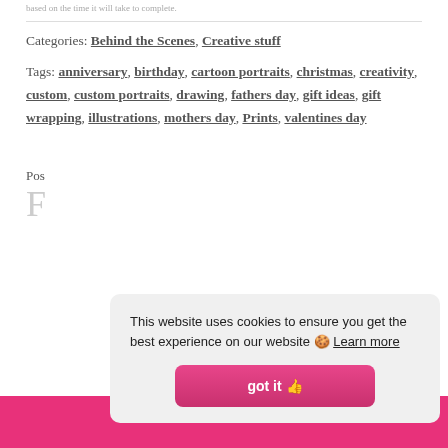based on the time it will take to complete.
Categories: Behind the Scenes, Creative stuff
Tags: anniversary, birthday, cartoon portraits, christmas, creativity, custom, custom portraits, drawing, fathers day, gift ideas, gift wrapping, illustrations, mothers day, Prints, valentines day
Pos
F
This website uses cookies to ensure you get the best experience on our website 🍪 Learn more
got it 👍